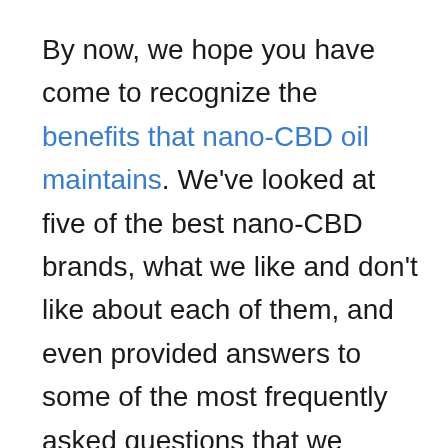By now, we hope you have come to recognize the benefits that nano-CBD oil maintains. We've looked at five of the best nano-CBD brands, what we like and don't like about each of them, and even provided answers to some of the most frequently asked questions that we come across.